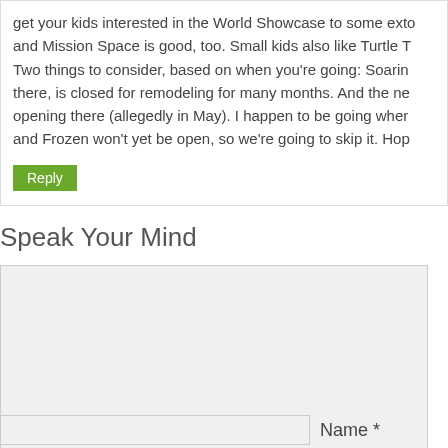get your kids interested in the World Showcase to some ext and Mission Space is good, too. Small kids also like Turtle T Two things to consider, based on when you're going: Soarin there, is closed for remodeling for many months. And the ne opening there (allegedly in May). I happen to be going wher and Frozen won't yet be open, so we're going to skip it. Hop
Reply
Speak Your Mind
Name *